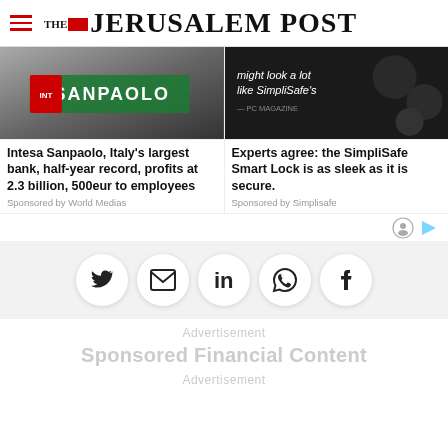THE JERUSALEM POST
[Figure (photo): Intesa Sanpaolo bank sign photo]
Intesa Sanpaolo, Italy's largest bank, half-year record, profits at 2.3 billion, 500eur to employees
Sponsored by World Medias
[Figure (photo): SimpliSafe Smart Lock dark background with text: might look a lot like SimpliSafe's — PC MAGAZINE]
Experts agree: the SimpliSafe Smart Lock is as sleek as it is secure.
Sponsored by Simplisafe
[Figure (illustration): Social share buttons: Twitter, Email, LinkedIn, WhatsApp, Facebook]
Advertisement
Sponsored Financial Content
Advertisement